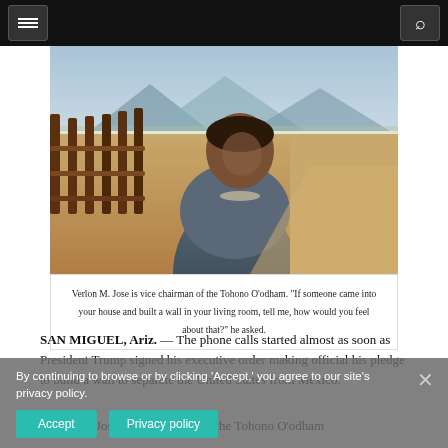[navigation bar with menu and search buttons]
[Figure (photo): Verlon M. Jose, a Native American man wearing a grey shirt and necklace, standing in front of a wooden fence in a desert landscape with mountains in the background.]
Verlon M. Jose is vice chairman of the Tohono O’odham. “If someone came into your house and built a wall in your living room, tell me, how would you feel about that?” he asked.
SAN MIGUEL, Ariz. — The phone calls started almost as soon as President Trump signed his executive order making official his pledge to build a wall to separate the United States from Mexico.
By continuing to browse or by clicking ‘Accept,’ you agree to our site’s privacy policy.
Verlon M. Jose, vice chairman of the Tohono O’odham